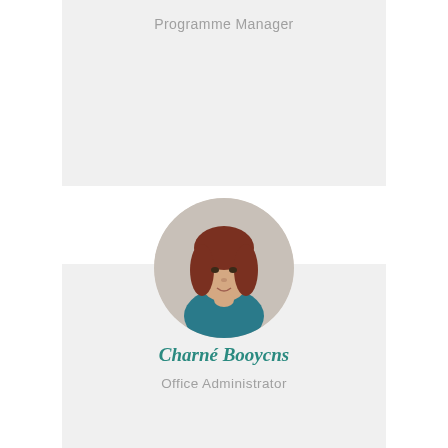Programme Manager
[Figure (photo): Portrait photo of Charné Booycns, a woman with reddish-brown hair wearing a teal/blue top, posed with hand near chin, displayed in a circular crop]
Charné Booycns
Office Administrator